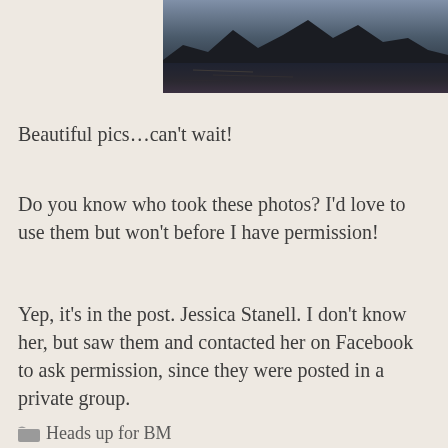[Figure (photo): Landscape photograph showing a dark silhouette of mountains against a dim sky, with a body of water in the foreground reflecting muted light.]
Beautiful pics…can't wait!
Do you know who took these photos? I'd love to use them but won't before I have permission!
Yep, it's in the post. Jessica Stanell. I don't know her, but saw them and contacted her on Facebook to ask permission, since they were posted in a private group.
Heads up for BM